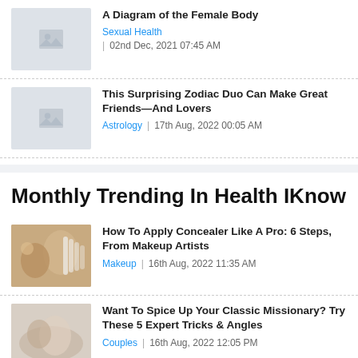A Diagram of the Female Body | Sexual Health | 02nd Dec, 2021 07:45 AM
This Surprising Zodiac Duo Can Make Great Friends—And Lovers | Astrology | 17th Aug, 2022 00:05 AM
Monthly Trending In Health IKnow
How To Apply Concealer Like A Pro: 6 Steps, From Makeup Artists | Makeup | 16th Aug, 2022 11:35 AM
Want To Spice Up Your Classic Missionary? Try These 5 Expert Tricks &amp; Angles